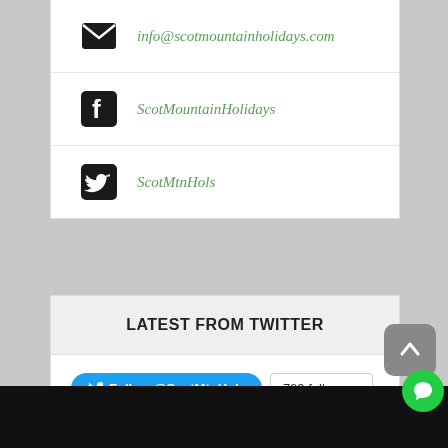info@scotmountainholidays.com
ScotMountainHolidays
ScotMtnHols
LATEST FROM TWITTER
Follow @ScotMtnHols  729 followers